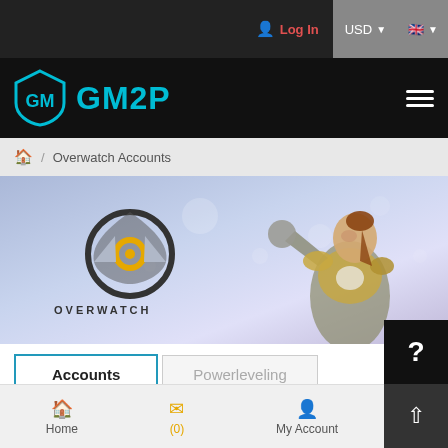Log In  USD  🇬🇧
[Figure (logo): GM2P logo with shield icon and teal GM2P text on black navigation bar]
Overwatch Accounts
[Figure (illustration): Overwatch banner with Overwatch logo on the left and Brigitte character on the right, light purple/blue gradient background]
Accounts
Powerleveling
Category:
Home  (0)  My Account